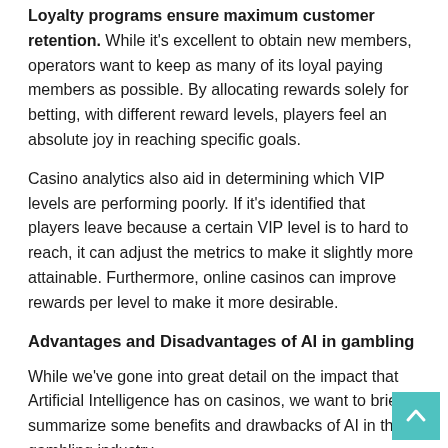Loyalty programs ensure maximum customer retention. While it's excellent to obtain new members, operators want to keep as many of its loyal paying members as possible. By allocating rewards solely for betting, with different reward levels, players feel an absolute joy in reaching specific goals.
Casino analytics also aid in determining which VIP levels are performing poorly. If it's identified that players leave because a certain VIP level is to hard to reach, it can adjust the metrics to make it slightly more attainable. Furthermore, online casinos can improve rewards per level to make it more desirable.
Advantages and Disadvantages of AI in gambling
While we've gone into great detail on the impact that Artificial Intelligence has on casinos, we want to briefly summarize some benefits and drawbacks of AI in the gambling industry.
Pros:
Fraud prevention and detection of suspicious activity